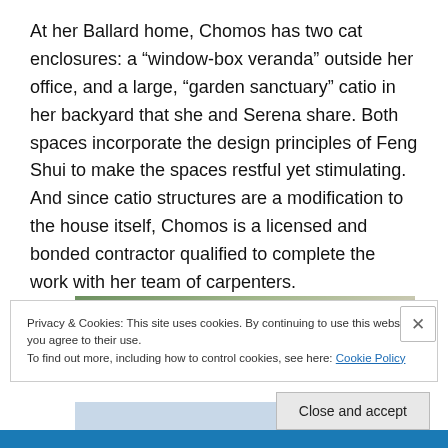At her Ballard home, Chomos has two cat enclosures: a “window-box veranda” outside her office, and a large, “garden sanctuary” catio in her backyard that she and Serena share. Both spaces incorporate the design principles of Feng Shui to make the spaces restful yet stimulating. And since catio structures are a modification to the house itself, Chomos is a licensed and bonded contractor qualified to complete the work with her team of carpenters.
[Figure (photo): Partial view of an outdoor catio/garden structure with trees and wooden elements visible]
Privacy & Cookies: This site uses cookies. By continuing to use this website, you agree to their use.
To find out more, including how to control cookies, see here: Cookie Policy
Close and accept